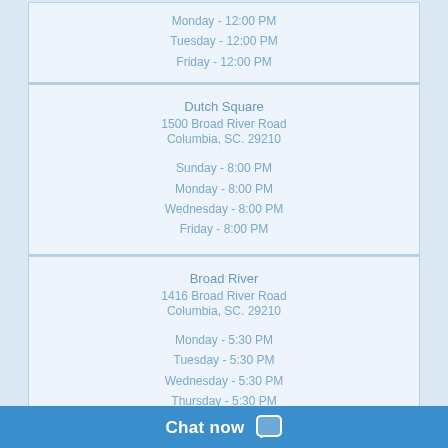Monday - 12:00 PM
Tuesday - 12:00 PM
Friday - 12:00 PM
Dutch Square
1500 Broad River Road
Columbia, SC. 29210

Sunday - 8:00 PM
Monday - 8:00 PM
Wednesday - 8:00 PM
Friday - 8:00 PM
Broad River
1416 Broad River Road
Columbia, SC. 29210

Monday - 5:30 PM
Tuesday - 5:30 PM
Wednesday - 5:30 PM
Thursday - 5:30 PM
Friday - 5:30 PM
Saturday - 10:30 AM